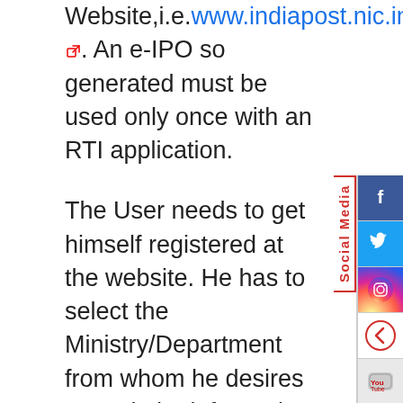Website,i.e.www.indiapost.nic.in. An e-IPO so generated must be used only once with an RTI application.
The User needs to get himself registered at the website. He has to select the Ministry/Department from whom he desires to seek the information under the RTI Act and the e-IPO so generated can be used to seek information from that Ministry/Department only. A printout of the e-IPO is required to be attached with the RTI application. If the RTI application is being filed electronically, e-IPO is required to be attached as an attachment. For more details please visit the website http://www.epostoffice.gov.in.
[Figure (infographic): Social Media sidebar with Facebook, Twitter, Instagram, YouTube icons and a back button]
This facility is only for purchasing an Indian Postal Order electronically. All the requirements for filing an RTI application as well as other provisions regarding eligibility, time limit, exemptions, etc. will continue to apply.